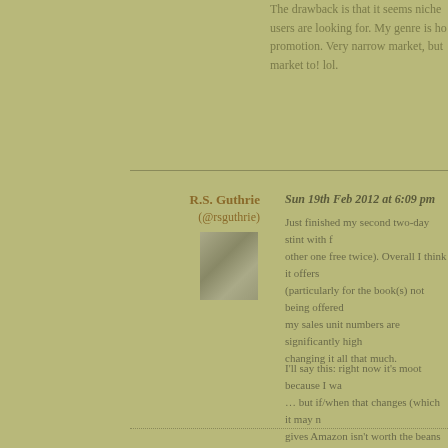The drawback is that it seems niche users are looking for. My genre is horror promotion. Very narrow market, but market to! lol.
REPLY
R.S. Guthrie (@rsguthrie)
Sun 19th Feb 2012 at 6:09 pm
Just finished my second two-day stint with f other one free twice). Overall I think it offers (particularly for the book(s) not being offered my sales unit numbers are significantly high changing it all that much.
I'll say this: right now it's moot because I wa … but if/when that changes (which it may n gives Amazon isn't worth the beans it's cook
It's kind of fun to see 2,000 copies of your b thought-provoking post, Russell.
REPLY